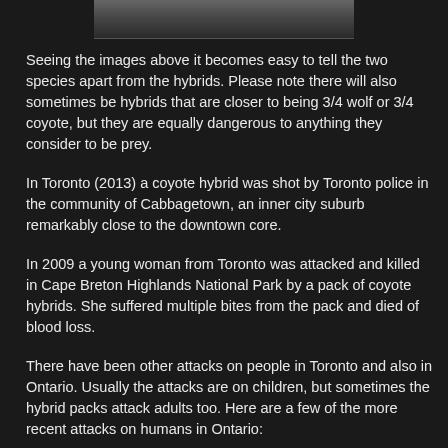[Figure (photo): Partial image visible at the top of the page, appears to be a dark landscape or animal photograph cropped at the top]
Seeing the images above it becomes easy to tell the two species apart from the hybrids. Please note there will also sometimes be hybrids that are closer to being 3/4 wolf or 3/4 coyote, but they are equally dangerous to anything they consider to be prey.
In Toronto (2013) a coyote hybrid was shot by Toronto police in the community of Cabbagetown, an inner city suburb remarkably close to the downtown core.
In 2009 a young woman from Toronto was attacked and killed in Cape Breton Highlands National Park by a pack of coyote hybrids. She suffered multiple bites from the pack and died of blood loss.
There have been other attacks on people in Toronto and also in Ontario. Usually the attacks are on children, but sometimes the hybrid packs attack adults too. Here are a few of the more recent attacks on humans in Ontario: